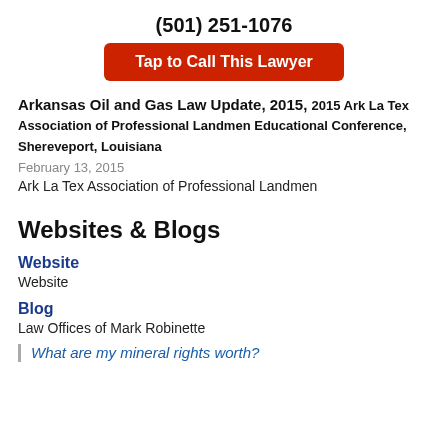(501) 251-1076
Tap to Call This Lawyer
Arkansas Oil and Gas Law Update, 2015, 2015 Ark La Tex Association of Professional Landmen Educational Conference, Shereveport, Louisiana
February 13, 2015
Ark La Tex Association of Professional Landmen
Websites & Blogs
Website
Website
Blog
Law Offices of Mark Robinette
What are my mineral rights worth?